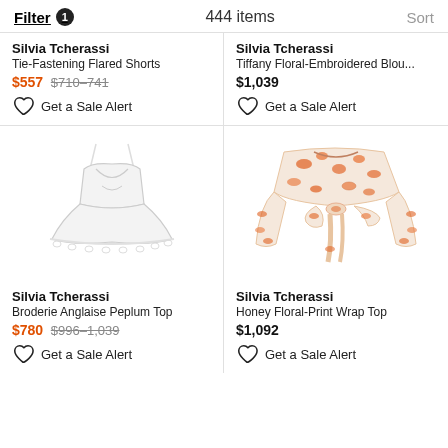Filter 1   444 items   Sort
Silvia Tcherassi
Tie-Fastening Flared Shorts
$557 $710–741
Get a Sale Alert
Silvia Tcherassi
Tiffany Floral-Embroidered Blou...
$1,039
Get a Sale Alert
[Figure (photo): White broderie anglaise peplum cami top with lace trim hem on white background]
Silvia Tcherassi
Broderie Anglaise Peplum Top
$780 $996–1,039
Get a Sale Alert
[Figure (photo): Orange and white floral print long-sleeve wrap top with tie front on white background]
Silvia Tcherassi
Honey Floral-Print Wrap Top
$1,092
Get a Sale Alert